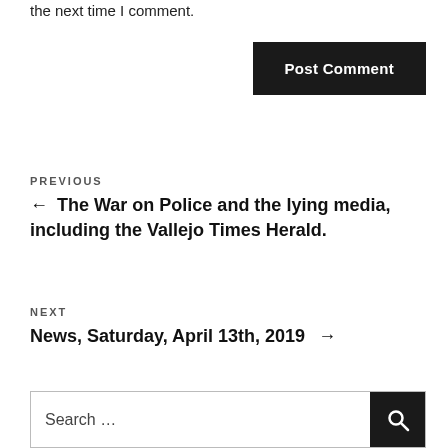the next time I comment.
Post Comment
PREVIOUS
← The War on Police and the lying media, including the Vallejo Times Herald.
NEXT
News, Saturday, April 13th, 2019 →
Search …